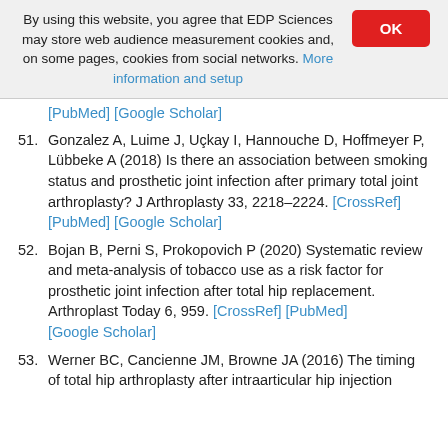By using this website, you agree that EDP Sciences may store web audience measurement cookies and, on some pages, cookies from social networks. More information and setup
[PubMed] [Google Scholar]
51. Gonzalez A, Luime J, Uçkay I, Hannouche D, Hoffmeyer P, Lübbeke A (2018) Is there an association between smoking status and prosthetic joint infection after primary total joint arthroplasty? J Arthroplasty 33, 2218–2224. [CrossRef] [PubMed] [Google Scholar]
52. Bojan B, Perni S, Prokopovich P (2020) Systematic review and meta-analysis of tobacco use as a risk factor for prosthetic joint infection after total hip replacement. Arthroplast Today 6, 959. [CrossRef] [PubMed] [Google Scholar]
53. Werner BC, Cancienne JM, Browne JA (2016) The timing of total hip arthroplasty after intraarticular hip injection